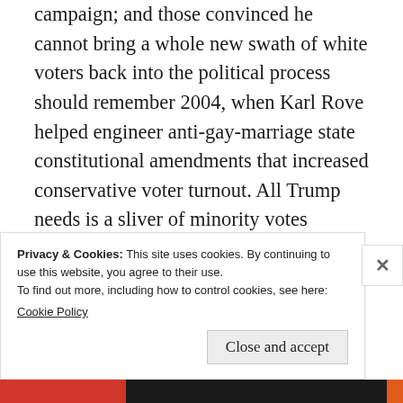campaign; and those convinced he cannot bring a whole new swath of white voters back into the political process should remember 2004, when Karl Rove helped engineer anti-gay-marriage state constitutional amendments that increased conservative voter turnout. All Trump needs is a sliver of minority votes inspired by the new energy of his campaign and the alleged dominance of the Obama coalition could crack (especially without Obama). Throughout the West these past few years, from France to
Privacy & Cookies: This site uses cookies. By continuing to use this website, you agree to their use.
To find out more, including how to control cookies, see here:
Cookie Policy
Close and accept